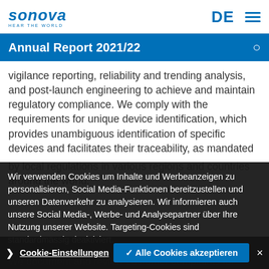sonova HEAR THE WORLD | DE ☰
Annual Report 2021/22
vigilance reporting, reliability and trending analysis, and post-launch engineering to achieve and maintain regulatory compliance. We comply with the requirements for unique device identification, which provides unambiguous identification of specific devices and facilitates their traceability, as mandated
by local regulations in various regions and countries around the world.
We document and review customer complaints for product safety, and monitor safety trends through our complaint handling process in line with applicable regulatory and legal requirements. Early warnings of quality problems
Wir verwenden Cookies um Inhalte und Werbeanzeigen zu personalisieren, Social Media-Funktionen bereitzustellen und unseren Datenverkehr zu analysieren. Wir informieren auch unsere Social Media-, Werbe- und Analysepartner über Ihre Nutzung unserer Website. Targeting-Cookies sind standardmässig deaktiviert.
Cookie-Einstellungen | ✓ Alle Cookies akzeptieren | ×